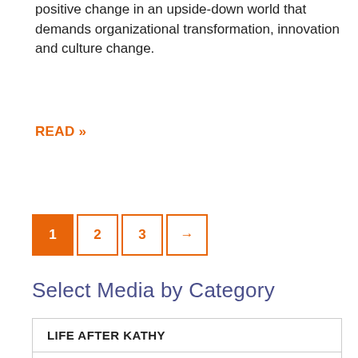positive change in an upside-down world that demands organizational transformation, innovation and culture change.
READ »
1  2  3  →
Select Media by Category
LIFE AFTER KATHY
WATCH VIDEOS
ASSET-BASED THINKING
LEAD POSITIVE VIDEOS
UPDATES